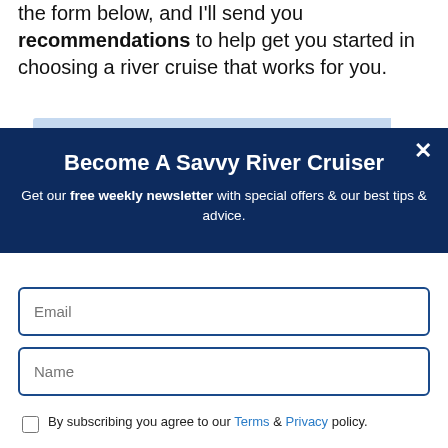the form below, and I'll send you recommendations to help get you started in choosing a river cruise that works for you.
Become A Savvy River Cruiser
Get our free weekly newsletter with special offers & our best tips & advice.
Email
Name
By subscribing you agree to our Terms & Privacy policy.
SUBSCRIBE